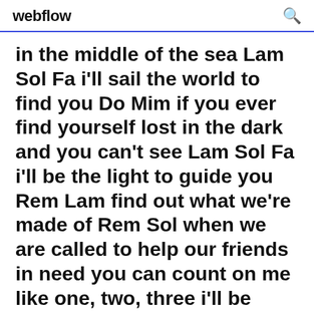webflow
in the middle of the sea Lam Sol Fa i'll sail the world to find you Do Mim if you ever find yourself lost in the dark and you can't see Lam Sol Fa i'll be the light to guide you Rem Lam find out what we're made of Rem Sol when we are called to help our friends in need you can count on me like one, two, three i'll be there and i
Accordi e testo Count On Me. Accordi e testo I Will Always Love You. Accordi e testo My Love Is Your Love. Accordi e testo Your Love Is My